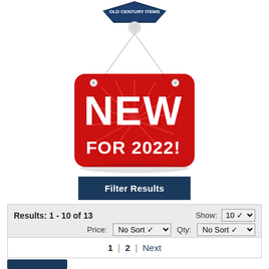[Figure (illustration): Dark navy blue pentagon-shaped badge at the top of the page, partially cut off]
[Figure (illustration): Red hanging sign with white text reading NEW FOR 2022! hanging from a white push-pin via string, with starburst rays behind the text]
Filter Results
Results: 1 - 10 of 13   Show: 10
Price: No Sort   Qty: No Sort
1 | 2 | Next